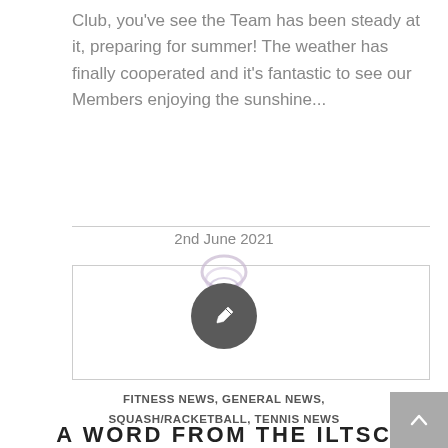Club, you've see the Team has been steady at it, preparing for summer! The weather has finally cooperated and it's fantastic to see our Members enjoying the sunshine...
2nd June 2021
[Figure (illustration): A boxed image area with a decorative club logo rings graphic at the top and a dark circular edit/pencil icon button overlaid in center]
FITNESS NEWS, GENERAL NEWS, SQUASH/RACKETBALL, TENNIS NEWS
A WORD FROM THE ILTSC TEAM